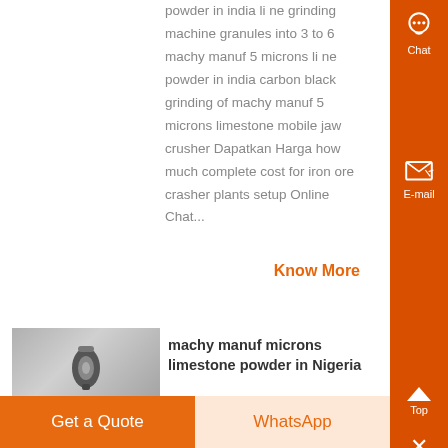powder in india li ne grinding machine granules into 3 to 6 machy manuf 5 microns li ne powder in india carbon black grinding of machy manuf 5 microns limestone mobile jaw crusher Dapatkan Harga how much complete cost for iron ore crasher plants setup Online Chat...
Know More
[Figure (photo): Photo of a grinding/milling machine component, dark metallic tool]
machy manuf microns limestone powder in Nigeria
Get a Quote
WhatsApp